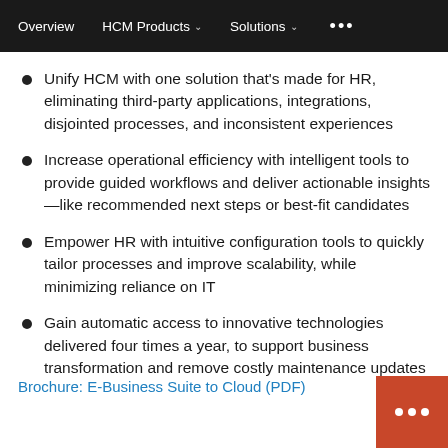Overview   HCM Products ∨   Solutions ∨   •••
Unify HCM with one solution that's made for HR, eliminating third-party applications, integrations, disjointed processes, and inconsistent experiences
Increase operational efficiency with intelligent tools to provide guided workflows and deliver actionable insights—like recommended next steps or best-fit candidates
Empower HR with intuitive configuration tools to quickly tailor processes and improve scalability, while minimizing reliance on IT
Gain automatic access to innovative technologies delivered four times a year, to support business transformation and remove costly maintenance updates
Brochure: E-Business Suite to Cloud (PDF)